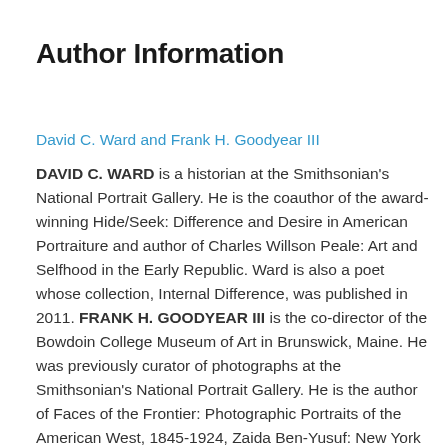Author Information
David C. Ward and Frank H. Goodyear III
DAVID C. WARD is a historian at the Smithsonian's National Portrait Gallery. He is the coauthor of the award-winning Hide/Seek: Difference and Desire in American Portraiture and author of Charles Willson Peale: Art and Selfhood in the Early Republic. Ward is also a poet whose collection, Internal Difference, was published in 2011. FRANK H. GOODYEAR III is the co-director of the Bowdoin College Museum of Art in Brunswick, Maine. He was previously curator of photographs at the Smithsonian's National Portrait Gallery. He is the author of Faces of the Frontier: Photographic Portraits of the American West, 1845-1924, Zaida Ben-Yusuf: New York Portrait Photographer,